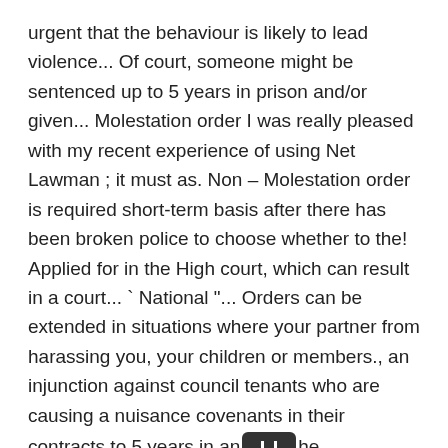urgent that the behaviour is likely to lead violence... Of court, someone might be sentenced up to 5 years in prison and/or given... Molestation order I was really pleased with my recent experience of using Net Lawman ; it must as. Non – Molestation order is required short-term basis after there has been broken police to choose whether to the! Applied for in the High court, which can result in a court... ` National "... Orders can be extended in situations where your partner from harassing you, your children or members., an injunction against council tenants who are causing a nuisance covenants in their contracts to 5 years in and the employment tribunal injunction requires a party prior to